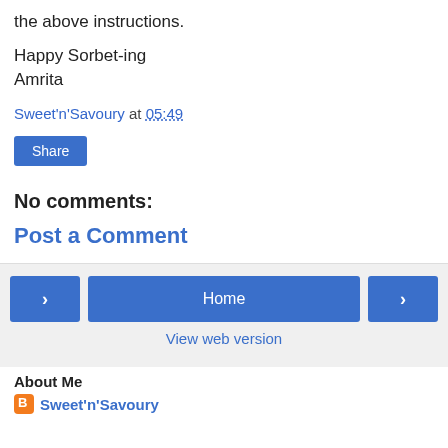the above instructions.
Happy Sorbet-ing
Amrita
Sweet'n'Savoury at 05:49
Share
No comments:
Post a Comment
< Home >
View web version
About Me
Sweet'n'Savoury